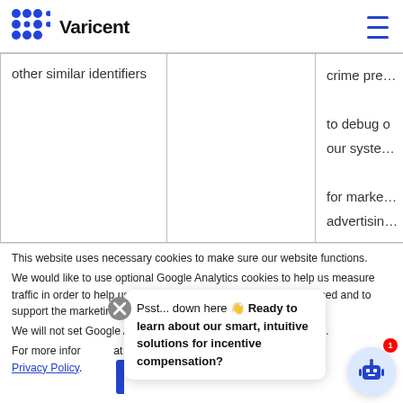Varicent
|  |  |  |
| --- | --- | --- |
| other similar identifiers |  | crime pre...

to debug our syste...

for marke...
advertisin... |
This website uses necessary cookies to make sure our website functions.
We would like to use optional Google Analytics cookies to help us measure traffic in order to help us better understand how the website is used and to support the marketing of our services.
We will not set Google Analytics cookies unless you enable them.
For more information about our Privacy Policy.
Psst... down here 👋 Ready to learn about our smart, intuitive solutions for incentive compensation?